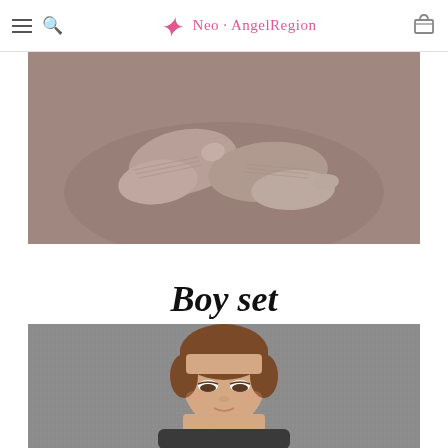Neo · AngelRegion
[Figure (photo): Close-up of doll feet wearing mauve/taupe socks on a muted rose-brown background]
Boy set
[Figure (photo): BJD doll with short brown hair looking downward against a grey fabric background]